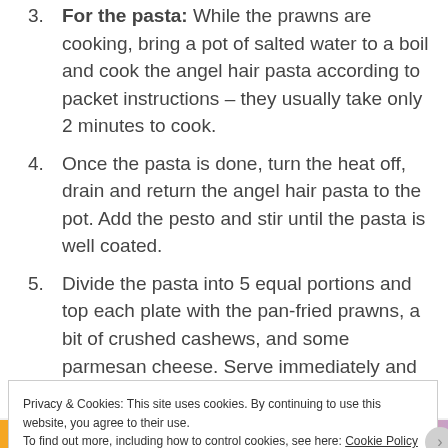3. For the pasta: While the prawns are cooking, bring a pot of salted water to a boil and cook the angel hair pasta according to packet instructions – they usually take only 2 minutes to cook.
4. Once the pasta is done, turn the heat off, drain and return the angel hair pasta to the pot. Add the pesto and stir until the pasta is well coated.
5. Divide the pasta into 5 equal portions and top each plate with the pan-fried prawns, a bit of crushed cashews, and some parmesan cheese. Serve immediately and enjoy!
Privacy & Cookies: This site uses cookies. By continuing to use this website, you agree to their use. To find out more, including how to control cookies, see here: Cookie Policy